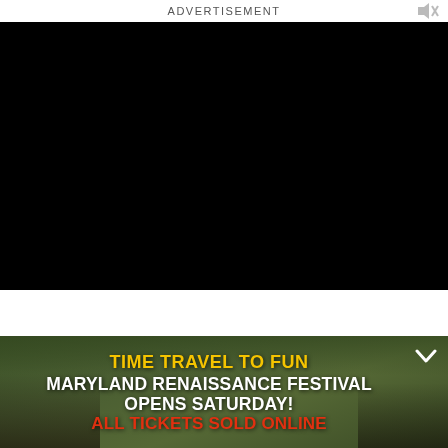ADVERTISEMENT
[Figure (other): Black video player area (video not loaded)]
[Figure (photo): Maryland Renaissance Festival advertisement banner with outdoor festival scene background. Text overlay reads: TIME TRAVEL TO FUN / MARYLAND RENAISSANCE FESTIVAL OPENS SATURDAY! / ALL TICKETS SOLD ONLINE]